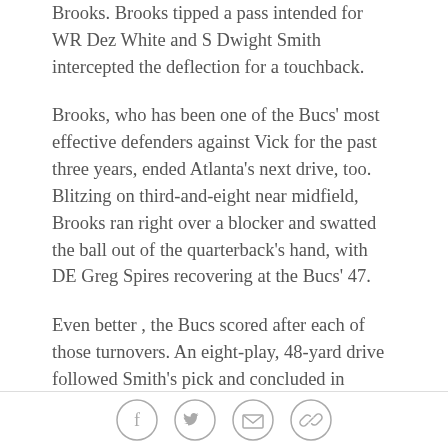Brooks. Brooks tipped a pass intended for WR Dez White and S Dwight Smith intercepted the deflection for a touchback.
Brooks, who has been one of the Bucs' most effective defenders against Vick for the past three years, ended Atlanta's next drive, too. Blitzing on third-and-eight near midfield, Brooks ran right over a blocker and swatted the ball out of the quarterback's hand, with DE Greg Spires recovering at the Bucs' 47.
Even better , the Bucs scored after each of those turnovers. An eight-play, 48-yard drive followed Smith's pick and concluded in perhaps the most appreciated play of the day by the Raymond James Stadium crowd. With the Bucs facing a fourth down at the Atlanta 32 – that no-man's land between punting, kicking and going
Social share icons: Facebook, Twitter, Email, Link